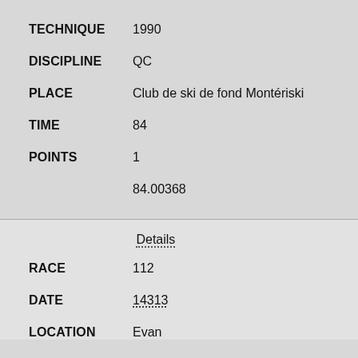TECHNIQUE: 1990
DISCIPLINE: QC
PLACE: Club de ski de fond Montériski
TIME: 84
POINTS: 1
84.00368
Details
RACE: 112
DATE: 14313
LOCATION: Evan